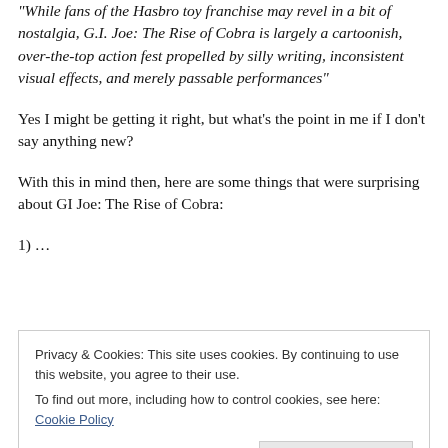"While fans of the Hasbro toy franchise may revel in a bit of nostalgia, G.I. Joe: The Rise of Cobra is largely a cartoonish, over-the-top action fest propelled by silly writing, inconsistent visual effects, and merely passable performances"
Yes I might be getting it right, but what's the point in me if I don't say anything new?
With this in mind then, here are some things that were surprising about GI Joe: The Rise of Cobra:
1) …
Privacy & Cookies: This site uses cookies. By continuing to use this website, you agree to their use.
To find out more, including how to control cookies, see here: Cookie Policy
from The Mummy, the villain from Bond film Tomorrow